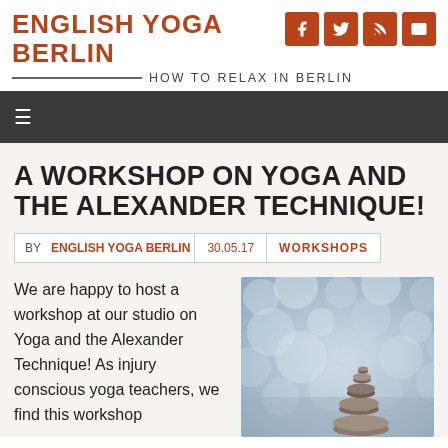ENGLISH YOGA BERLIN
HOW TO RELAX IN BERLIN
A WORKSHOP ON YOGA AND THE ALEXANDER TECHNIQUE!
BY ENGLISH YOGA BERLIN  |  30.05.17  |  WORKSHOPS
We are happy to host a workshop at our studio on Yoga and the Alexander Technique! As injury conscious yoga teachers, we find this workshop
[Figure (photo): Blurred bokeh background with stacked balanced stones (pebbles) in the foreground, representing balance and calm.]